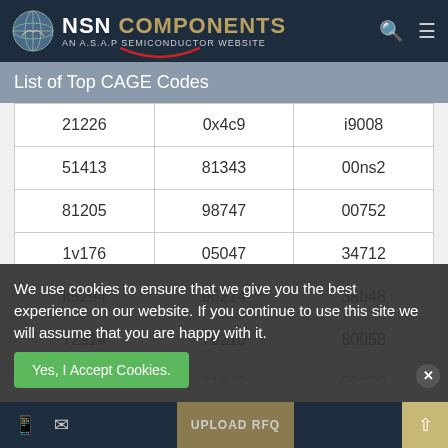[Figure (screenshot): NSN Components website header with logo, search and menu icons, and red arc underline accent]
List of Top CAGE Codes
| 21226 | 0x4c9 | i9008 |
| 51413 | 81343 | 00ns2 |
| 81205 | 98747 | 00752 |
| 1v176 | 05047 | 34712 |
| k5294 | 96214 | 3ab48 |
| 72914 | 70210 | 80058 |
| 79343 | 81348 | 58960 |
We use cookies to ensure that we give you the best experience on our website. If you continue to use this site we will assume that you are happy with it.
Yes, I Accept Cookies.